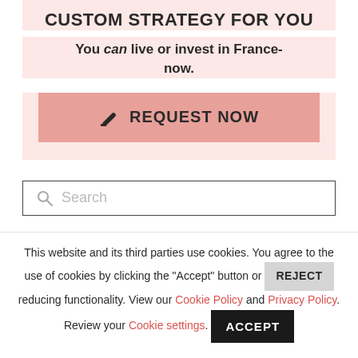CUSTOM STRATEGY FOR YOU
You can live or invest in France-now.
[Figure (screenshot): Pink button with pencil icon and text 'REQUEST NOW']
[Figure (screenshot): Search box with magnifying glass icon and placeholder text 'Search']
This website and its third parties use cookies. You agree to the use of cookies by clicking the "Accept" button or REJECT reducing functionality. View our Cookie Policy and Privacy Policy. Review your Cookie settings. ACCEPT